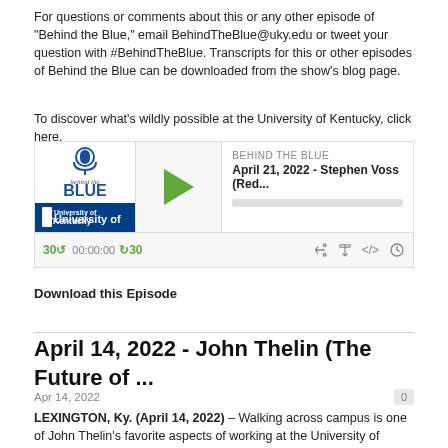For questions or comments about this or any other episode of "Behind the Blue," email BehindTheBlue@uky.edu or tweet your question with #BehindTheBlue. Transcripts for this or other episodes of Behind the Blue can be downloaded from the show's blog page.
To discover what's wildly possible at the University of Kentucky, click here.
[Figure (screenshot): Podcast player widget for 'Behind the Blue' episode dated April 21, 2022 - Stephen Voss (Red...), showing play button, time controls 30-back, 00:00:00, forward-30, and media icons.]
Download this Episode
April 14, 2022 - John Thelin (The Future of ...
Apr 14, 2022
LEXINGTON, Ky. (April 14, 2022) – Walking across campus is one of John Thelin's favorite aspects of working at the University of Kentucky for one reason. He loves running into his colleagues and former students.
It's that community that he says he will miss the most as his time at UK draws to a close.